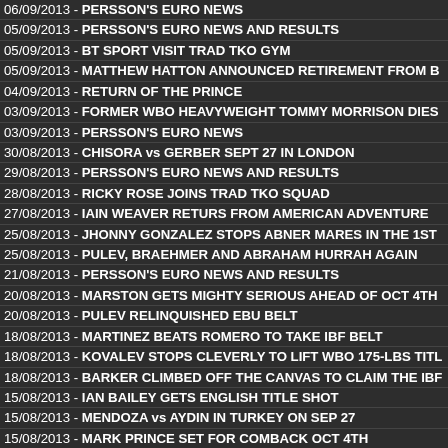06/09/2013 - PERSSON'S EURO NEWS
05/09/2013 - PERSSON'S EURO NEWS AND RESULTS
05/09/2013 - BT SPORT VISIT TRAD TKO GYM
05/09/2013 - MATTHEW HATTON ANNOUNCED RETIREMENT FROM B
04/09/2013 - RETURN OF THE PRINCE
03/09/2013 - FORMER WBO HEAVYWEIGHT TOMMY MORRISON DIES
03/09/2013 - PERSSON'S EURO NEWS
30/08/2013 - CHISORA vs GERBER SEPT 27 IN LONDON
29/08/2013 - PERSSON'S EURO NEWS AND RESULTS
28/08/2013 - RICKY ROSE JOINS TRAD TKO SQUAD
27/08/2013 - IAIN WEAVER RETURS FROM AMERICAN ADVENTURE
25/08/2013 - JHONNY GONZALEZ STOPS ABNER MARES IN THE 1ST
25/08/2013 - PULEV, BRAEHMER AND ABRAHAM HURRAH AGAIN
21/08/2013 - PERSSON'S EURO NEWS AND RESULTS
20/08/2013 - MARSTON GETS MIGHTY SERIOUS AHEAD OF OCT 4TH
20/08/2013 - PULEV RELINQUISHED EBU BELT
18/08/2013 - MARTINEZ BEATS ROMERO TO TAKE IBF BELT
18/08/2013 - KOVALEV STOPS CLEVERLY TO LIFT WBO 175-LBS TITL
18/08/2013 - BARKER CLIMBED OFF THE CANVAS TO CLAIM THE IBF
15/08/2013 - IAN BAILEY GETS ENGLISH TITLE SHOT
15/08/2013 - MENDOZA vs AYDIN IN TURKEY ON SEP 27
15/08/2013 - MARK PRINCE SET FOR COMBACK OCT 4TH
14/08/2013 - PERSSON'S EURO NEWS AND RESULTS
13/08/2013 - WORLD BOXING FEDERATION NEWSLETTER
12/08/2013 - MARTIN AND MARSTON HEAD-UP IN MALTA ON AUG 30
09/08/2013 - YOAN PABLO HERNANDEZ CAN RESUME TRAINING